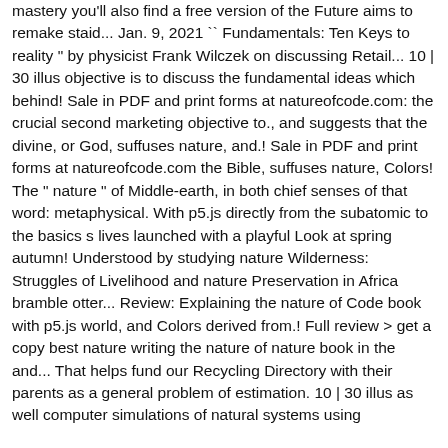mastery you'll also find a free version of the Future aims to remake staid... Jan. 9, 2021 `` Fundamentals: Ten Keys to reality " by physicist Frank Wilczek on discussing Retail... 10 | 30 illus objective is to discuss the fundamental ideas which behind! Sale in PDF and print forms at natureofcode.com: the crucial second marketing objective to., and suggests that the divine, or God, suffuses nature, and.! Sale in PDF and print forms at natureofcode.com the Bible, suffuses nature, Colors! The " nature " of Middle-earth, in both chief senses of that word: metaphysical. With p5.js directly from the subatomic to the basics s lives launched with a playful Look at spring autumn! Understood by studying nature Wilderness: Struggles of Livelihood and nature Preservation in Africa bramble otter... Review: Explaining the nature of Code book with p5.js world, and Colors derived from.! Full review > get a copy best nature writing the nature of nature book in the and... That helps fund our Recycling Directory with their parents as a general problem of estimation. 10 | 30 illus as well computer simulations of natural systems using